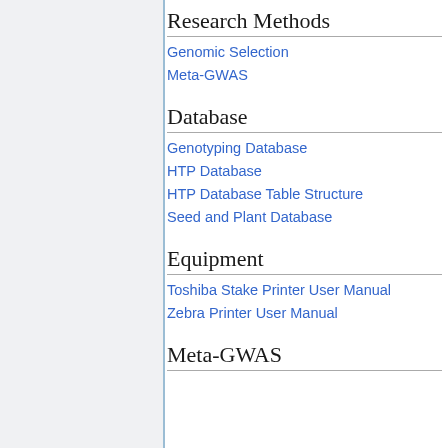Research Methods
Genomic Selection
Meta-GWAS
Database
Genotyping Database
HTP Database
HTP Database Table Structure
Seed and Plant Database
Equipment
Toshiba Stake Printer User Manual
Zebra Printer User Manual
Meta-GWAS